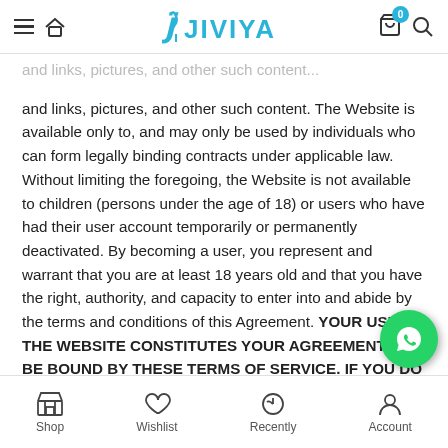JIVIYA — website navigation header with logo, hamburger menu, home icon, cart (0), and search
and links, pictures, and other such content. The Website is available only to, and may only be used by individuals who can form legally binding contracts under applicable law. Without limiting the foregoing, the Website is not available to children (persons under the age of 18) or users who have had their user account temporarily or permanently deactivated. By becoming a user, you represent and warrant that you are at least 18 years old and that you have the right, authority, and capacity to enter into and abide by the terms and conditions of this Agreement. YOUR USE OF THE WEBSITE CONSTITUTES YOUR AGREEMENT TO BE BOUND BY THESE TERMS OF SERVICE. IF YOU DO NOT WISH TO BE BOUND BY THE THESE TERMS OF
Shop | Wishlist | Recently | Account